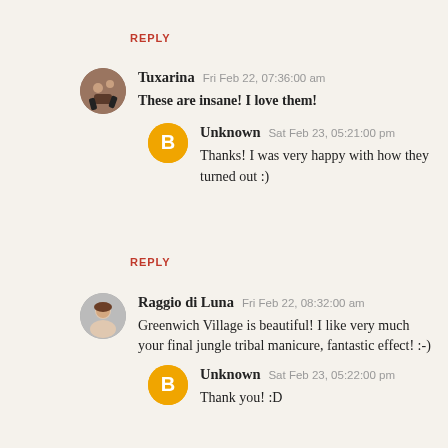REPLY
Tuxarina  Fri Feb 22, 07:36:00 am
These are insane! I love them!
Unknown  Sat Feb 23, 05:21:00 pm
Thanks! I was very happy with how they turned out :)
REPLY
Raggio di Luna  Fri Feb 22, 08:32:00 am
Greenwich Village is beautiful! I like very much your final jungle tribal manicure, fantastic effect! :-)
Unknown  Sat Feb 23, 05:22:00 pm
Thank you! :D